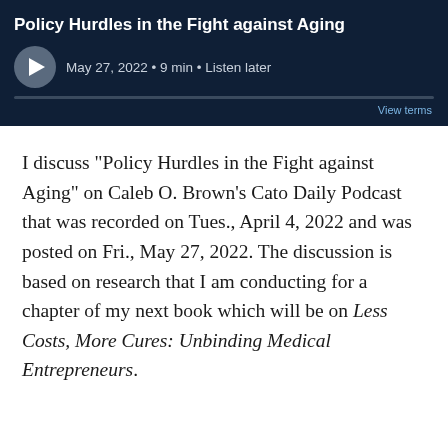[Figure (screenshot): Podcast player card with dark navy background showing title 'Policy Hurdles in the Fight against Aging', play button, date May 27 2022, duration 9 min, Listen later link, progress bar, and View terms link]
I discuss "Policy Hurdles in the Fight against Aging" on Caleb O. Brown's Cato Daily Podcast that was recorded on Tues., April 4, 2022 and was posted on Fri., May 27, 2022. The discussion is based on research that I am conducting for a chapter of my next book which will be on Less Costs, More Cures: Unbinding Medical Entrepreneurs.